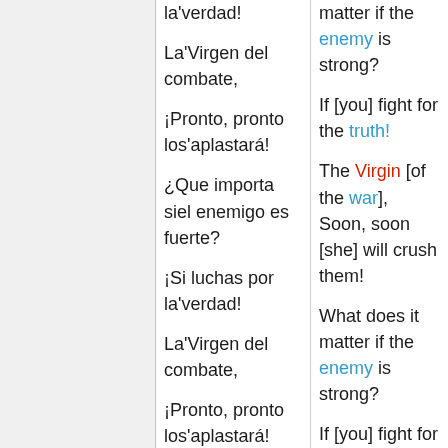la'verdad!
La'Virgen del combate,
¡Pronto, pronto los'aplastará!

¿Que importa siel enemigo es fuerte?
¡Si luchas por la'verdad!
La'Virgen del combate,
¡Pronto, pronto los'aplastará!
matter if the enemy is strong?
If [you] fight for the truth!
The Virgin [of the war],
Soon, soon [she] will crush them!

What does it matter if the enemy is strong?
If [you] fight for the truth!
The Virgin [of the war],
Soon, soon